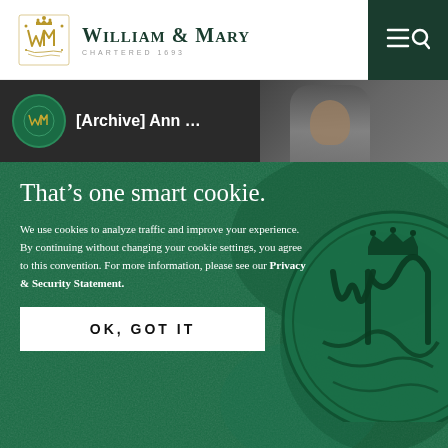William & Mary — Chartered 1693
[Figure (screenshot): Video thumbnail showing [Archive] Ann ... with William & Mary logo circle on dark background]
That’s one smart cookie.
We use cookies to analyze traffic and improve your experience. By continuing without changing your cookie settings, you agree to this convention. For more information, please see our Privacy & Security Statement.
OK, GOT IT